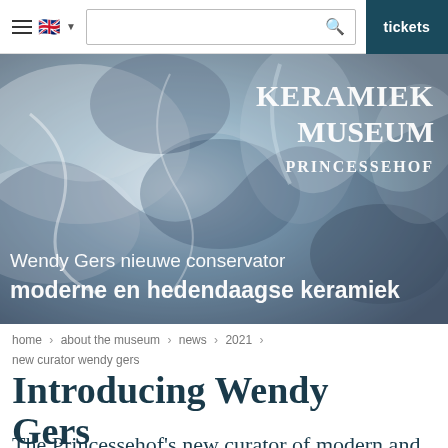Navigation bar with hamburger menu, UK flag, language selector, search box, tickets button
[Figure (photo): Hero banner with blue-and-white ceramic/porcelain texture background. White text overlay shows 'KERAMIEK MUSEUM PRINCESSEHOF' logo top-right, and Dutch caption 'Wendy Gers nieuwe conservator moderne en hedendaagse keramiek' bottom-left.]
home > about the museum > news > 2021 > new curator wendy gers
Introducing Wendy Gers
The Princessehof's new curator of modern and contemporary